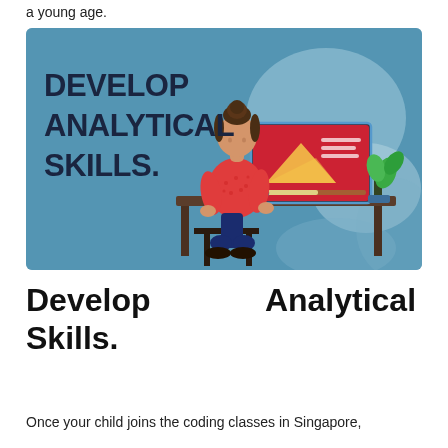a young age.
[Figure (illustration): Banner image with teal/blue background showing a student (woman with bun hairstyle, wearing red top and blue pants) sitting at a desk working on a computer. The monitor displays a red screen with geometry/math content. A green plant is to the right. Bold white/dark text on the left reads: DEVELOP ANALYTICAL SKILLS.]
Develop Analytical Skills.
Once your child joins the coding classes in Singapore,